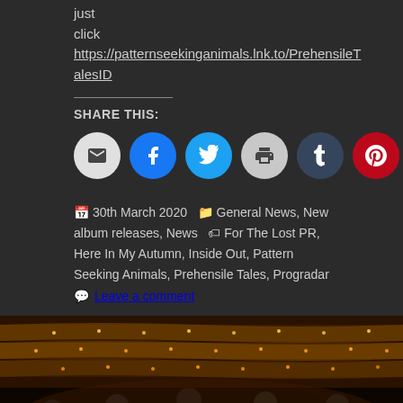just click https://patternseeking animals.lnk.to/PrehensileT alesID
SHARE THIS:
[Figure (other): Social share buttons: email, Facebook, Twitter, print, Tumblr, Pinterest, LinkedIn]
30th March 2020  General News, New album releases, News  For The Lost PR, Here In My Autumn, Inside Out, Pattern Seeking Animals, Prehensile Tales, Progradar
Leave a comment
[Figure (photo): Band photo inside an ornate theater with golden balconies and warm lighting, five band members standing in foreground]